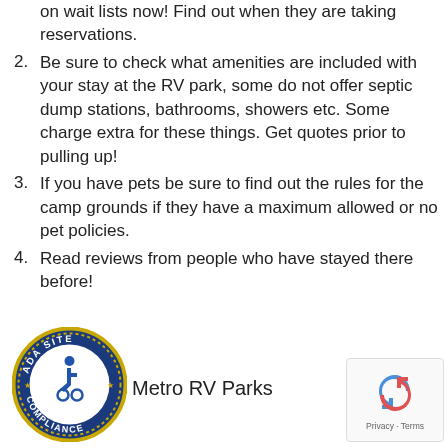on wait lists now! Find out when they are taking reservations.
2. Be sure to check what amenities are included with your stay at the RV park, some do not offer septic dump stations, bathrooms, showers etc. Some charge extra for these things. Get quotes prior to pulling up!
3. If you have pets be sure to find out the rules for the camp grounds if they have a maximum allowed or no pet policies.
4. Read reviews from people who have stayed there before!
[Figure (logo): ADA Site Compliance badge with wheelchair accessibility icon, circular blue and gold design]
Metro RV Parks